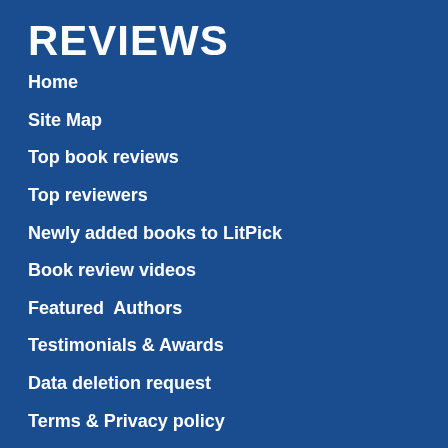REVIEWS
Home
Site Map
Top book reviews
Top reviewers
Newly added books to LitPick
Book review videos
Featured  Authors
Testimonials & Awards
Data deletion request
Terms & Privacy policy